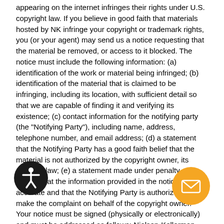appearing on the internet infringes their rights under U.S. copyright law. If you believe in good faith that materials hosted by NK infringe your copyright or trademark rights, you (or your agent) may send us a notice requesting that the material be removed, or access to it blocked. The notice must include the following information: (a) identification of the work or material being infringed; (b) identification of the material that is claimed to be infringing, including its location, with sufficient detail so that we are capable of finding it and verifying its existence; (c) contact information for the notifying party (the "Notifying Party"), including name, address, telephone number, and email address; (d) a statement that the Notifying Party has a good faith belief that the material is not authorized by the copyright owner, its agent or law; (e) a statement made under penalty of perjury that the information provided in the notice is accurate and that the Notifying Party is authorized to make the complaint on behalf of the copyright owner. Your notice must be signed (physically or electronically) and must be addressed as follows: Nielsen-Kellerman, Attn: Legal Department, 21 Creek Circle, Boothwyn, PA 19061 USA or legal@nkhome.com. If you fail to comply with all of the requirements of this section, your notice may not be valid. The information provided in a
[Figure (other): Accessibility icon button — circular black button with white accessibility (person with outstretched arms) symbol]
[Figure (other): Contact/mail icon button — circular orange button with white envelope/mail symbol]